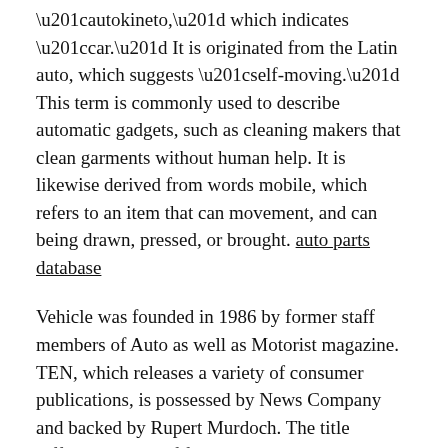“autokineto,” which indicates “car.” It is originated from the Latin auto, which suggests “self-moving.” This term is commonly used to describe automatic gadgets, such as cleaning makers that clean garments without human help. It is likewise derived from words mobile, which refers to an item that can movement, and can being drawn, pressed, or brought. auto parts database
Vehicle was founded in 1986 by former staff members of Auto as well as Motorist magazine. TEN, which releases a variety of consumer publications, is possessed by News Company and backed by Rupert Murdoch. The title differentiates itself from the predecessor, Motor Trend, by being a lifestyle publication as opposed to just an auto magazine. The term “auto” originates from the Greek words “automobiles” as well as “mobile.” The name of this publication is derived from the Latin words for